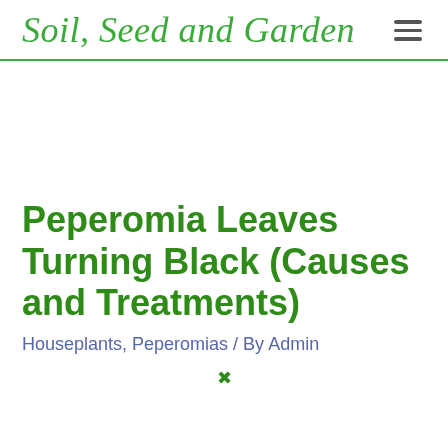Soil, Seed and Garden
Peperomia Leaves Turning Black (Causes and Treatments)
Houseplants, Peperomias / By Admin